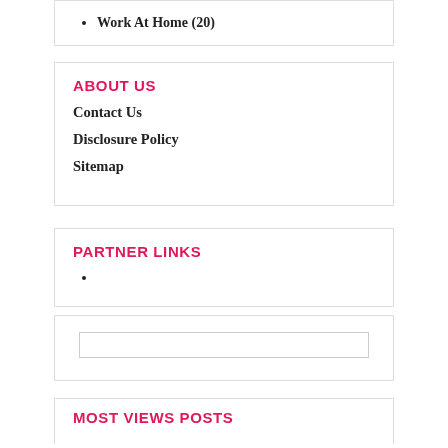Work At Home (20)
ABOUT US
Contact Us
Disclosure Policy
Sitemap
PARTNER LINKS
MOST VIEWS POSTS